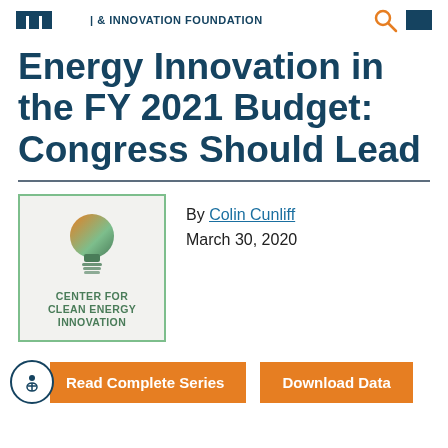| & INNOVATION FOUNDATION
Energy Innovation in the FY 2021 Budget: Congress Should Lead
[Figure (logo): Center for Clean Energy Innovation logo: a light bulb icon with orange and green gradient, text CENTER FOR CLEAN ENERGY INNOVATION]
By Colin Cunliff
March 30, 2020
Read Complete Series
Download Data